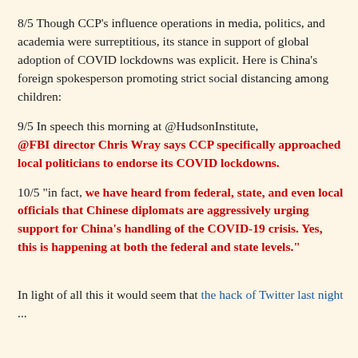8/5 Though CCP's influence operations in media, politics, and academia were surreptitious, its stance in support of global adoption of COVID lockdowns was explicit. Here is China's foreign spokesperson promoting strict social distancing among children:
9/5 In speech this morning at @HudsonInstitute, @FBI director Chris Wray says CCP specifically approached local politicians to endorse its COVID lockdowns.
10/5 "in fact, we have heard from federal, state, and even local officials that Chinese diplomats are aggressively urging support for China’s handling of the COVID-19 crisis. Yes, this is happening at both the federal and state levels."
In light of all this it would seem that the hack of Twitter last night ...